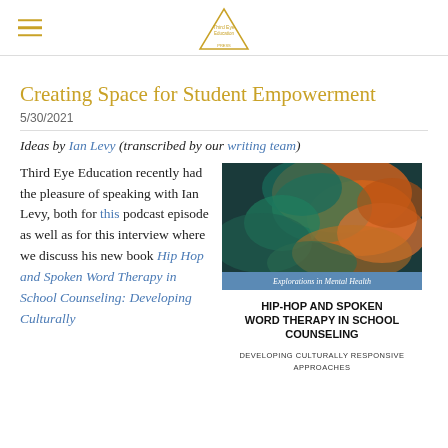Third Eye Education logo and navigation
Creating Space for Student Empowerment
5/30/2021
Ideas by Ian Levy (transcribed by our writing team)
Third Eye Education recently had the pleasure of speaking with Ian Levy, both for this podcast episode as well as for this interview where we discuss his new book Hip Hop and Spoken Word Therapy in School Counseling: Developing Culturally
[Figure (photo): Book cover of Hip-Hop and Spoken Word Therapy in School Counseling: Developing Culturally Responsive Approaches, with abstract teal and orange art on top and bold text on white bottom. Blue banner reads Explorations in Mental Health.]